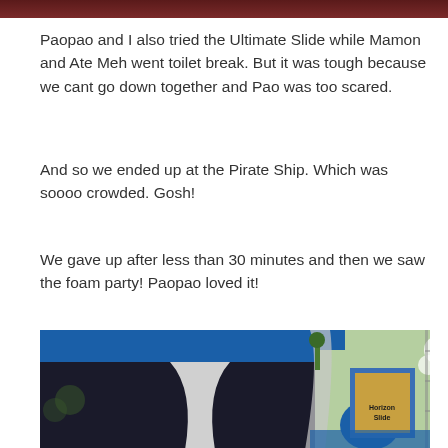[Figure (photo): Dark brown/maroon bar or image strip at the very top of the page, partially cropped]
Paopao and I also tried the Ultimate Slide while Mamon and Ate Meh went toilet break. But it was tough because we cant go down together and Pao was too scared.
And so we ended up at the Pirate Ship. Which was soooo crowded. Gosh!
We gave up after less than 30 minutes and then we saw the foam party! Paopao loved it!
[Figure (photo): Outdoor photo showing a large inflatable attraction with dark/navy blue walls and a white curtain or slide surface. On the right side, a sign reading 'Horizon Slide' is visible along with blue inflatable structures and foam/mist in the air.]